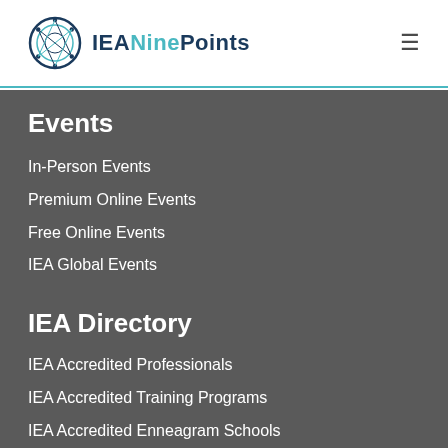[Figure (logo): IEA NinePoints logo with circular blue enneagram icon and text 'IEANinePoints' in dark blue and teal]
Events
In-Person Events
Premium Online Events
Free Online Events
IEA Global Events
IEA Directory
IEA Accredited Professionals
IEA Accredited Training Programs
IEA Accredited Enneagram Schools